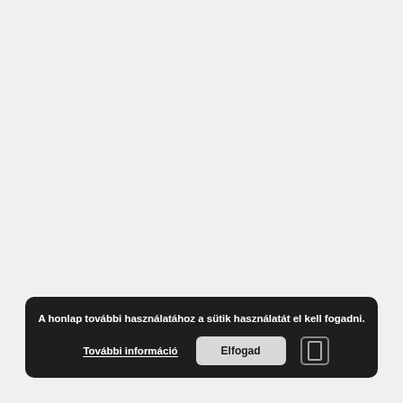[Figure (screenshot): Cookie consent banner at the bottom of a webpage. Dark rounded rectangle containing text 'A honlap további használatához a sütik használatát el kell fogadni.' with buttons 'További információ' (underlined link) and 'Elfogad' (accept button) and a close icon.]